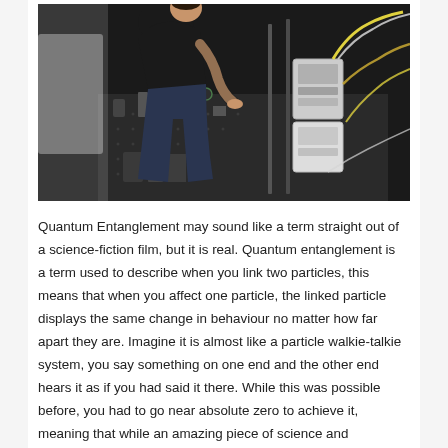[Figure (photo): A researcher in a black t-shirt leans over a large optical table filled with laser optics, mirrors, beam splitters, mounts, and electronic equipment including wiring and metal boxes, in a physics laboratory.]
Quantum Entanglement may sound like a term straight out of a science-fiction film, but it is real. Quantum entanglement is a term used to describe when you link two particles, this means that when you affect one particle, the linked particle displays the same change in behaviour no matter how far apart they are. Imagine it is almost like a particle walkie-talkie system, you say something on one end and the other end hears it as if you had said it there. While this was possible before, you had to go near absolute zero to achieve it, meaning that while an amazing piece of science and technology, the practical uses were slim. That is no longer the case as a research